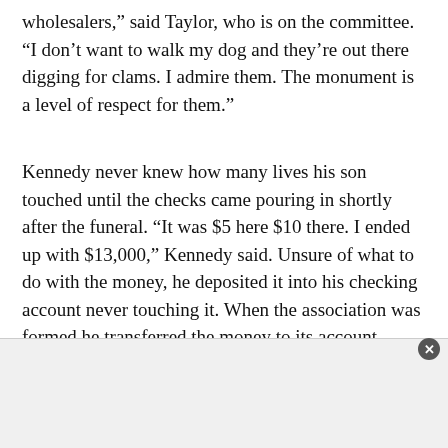wholesalers,” said Taylor, who is on the committee. “I don’t want to walk my dog and they’re out there digging for clams. I admire them. The monument is a level of respect for them.”
Kennedy never knew how many lives his son touched until the checks came pouring in shortly after the funeral. “It was $5 here $10 there. I ended up with $13,000,” Kennedy said. Unsure of what to do with the money, he deposited it into his checking account never touching it. When the association was formed he transferred the money to its account.